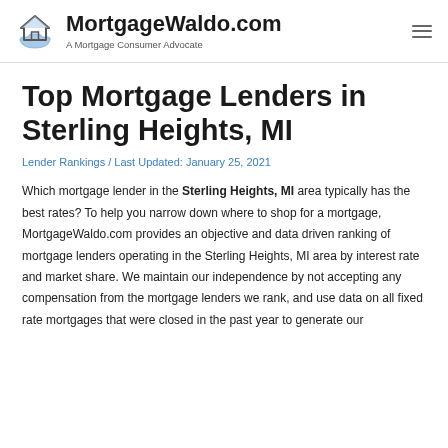MortgageWaldo.com — A Mortgage Consumer Advocate
Top Mortgage Lenders in Sterling Heights, MI
Lender Rankings / Last Updated: January 25, 2021
Which mortgage lender in the Sterling Heights, MI area typically has the best rates? To help you narrow down where to shop for a mortgage, MortgageWaldo.com provides an objective and data driven ranking of mortgage lenders operating in the Sterling Heights, MI area by interest rate and market share. We maintain our independence by not accepting any compensation from the mortgage lenders we rank, and use data on all fixed rate mortgages that were closed in the past year to generate our